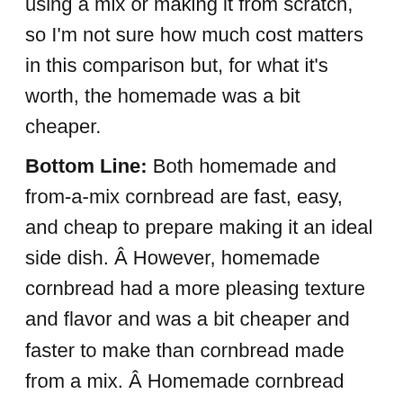using a mix or making it from scratch, so I'm not sure how much cost matters in this comparison but, for what it's worth, the homemade was a bit cheaper.
Bottom Line: Both homemade and from-a-mix cornbread are fast, easy, and cheap to prepare making it an ideal side dish. Â However, homemade cornbread had a more pleasing texture and flavor and was a bit cheaper and faster to make than cornbread made from a mix. Â Homemade cornbread was the obvious winner in this comparison on all fronts.